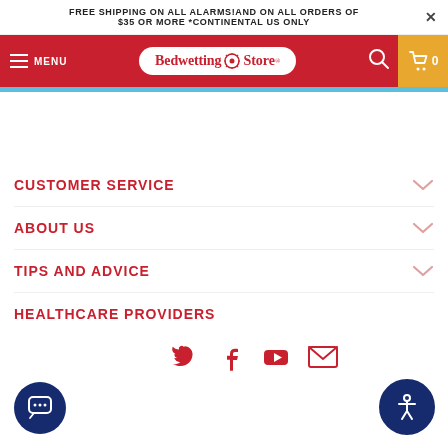FREE SHIPPING ON ALL ALARMS!AND ON ALL ORDERS OF $35 OR MORE *CONTINENTAL US ONLY
[Figure (screenshot): Bedwetting Store navigation bar with red background, hamburger menu, logo, search icon, and cart icon]
CUSTOMER SERVICE
ABOUT US
TIPS AND ADVICE
HEALTHCARE PROVIDERS
[Figure (logo): Social media icons row: Twitter, Facebook, YouTube, Email]